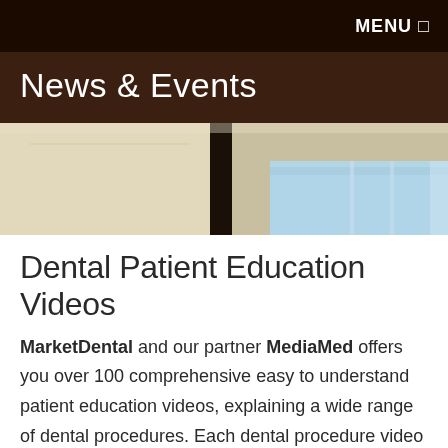MENU ☰
News & Events
[Figure (photo): Interior of a dental office showing tan/beige walls with a dark door frame and blue dental chair or equipment visible on the right side]
Dental Patient Education Videos
MarketDental and our partner MediaMed offers you over 100 comprehensive easy to understand patient education videos, explaining a wide range of dental procedures. Each dental procedure video is less than four minutes long and covers risk